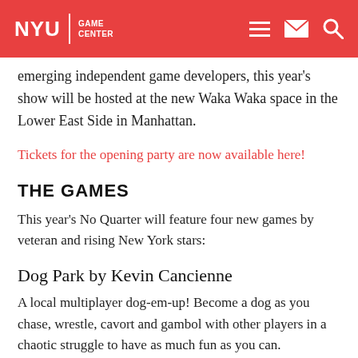NYU GAME CENTER
emerging independent game developers, this year's show will be hosted at the new Waka Waka space in the Lower East Side in Manhattan.
Tickets for the opening party are now available here!
THE GAMES
This year's No Quarter will feature four new games by veteran and rising New York stars:
Dog Park by Kevin Cancienne
A local multiplayer dog-em-up! Become a dog as you chase, wrestle, cavort and gambol with other players in a chaotic struggle to have as much fun as you can.